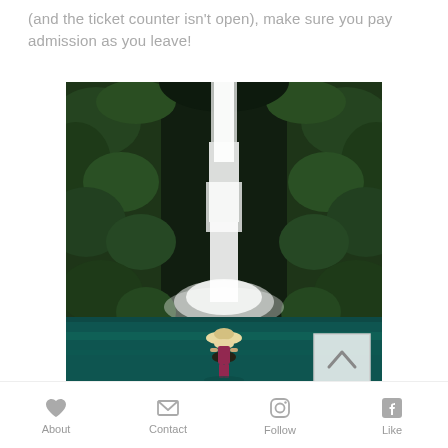(and the ticket counter isn't open), make sure you pay admission as you leave!
[Figure (photo): A tall waterfall cascading down a lush green moss-covered cliff into a teal pool, with a person in a hat and bikini standing in the foreground water looking at the waterfall.]
About  Contact  Follow  Like